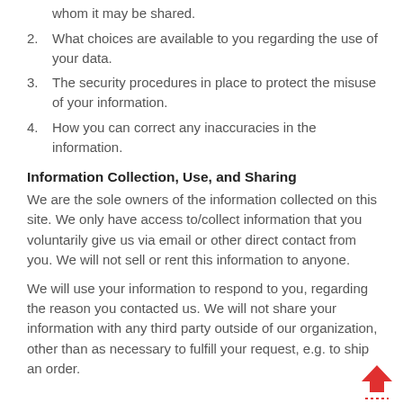whom it may be shared.
2. What choices are available to you regarding the use of your data.
3. The security procedures in place to protect the misuse of your information.
4. How you can correct any inaccuracies in the information.
Information Collection, Use, and Sharing
We are the sole owners of the information collected on this site. We only have access to/collect information that you voluntarily give us via email or other direct contact from you. We will not sell or rent this information to anyone.
We will use your information to respond to you, regarding the reason you contacted us. We will not share your information with any third party outside of our organization, other than as necessary to fulfill your request, e.g. to ship an order.